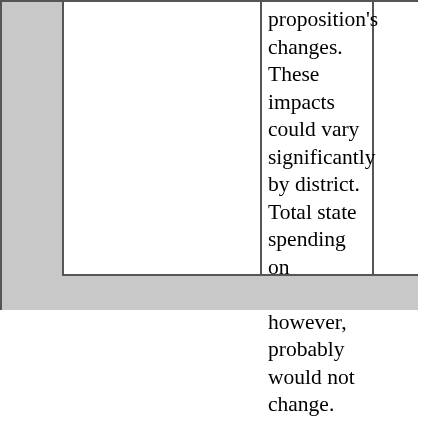|  |  | proposition's changes. These impacts could vary significantly by district. Total state spending on education, however, probably would not change. |  |